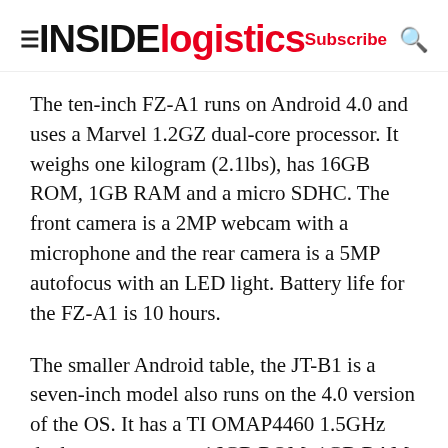INSIDE logistics | Subscribe
The ten-inch FZ-A1 runs on Android 4.0 and uses a Marvel 1.2GZ dual-core processor. It weighs one kilogram (2.1lbs), has 16GB ROM, 1GB RAM and a micro SDHC. The front camera is a 2MP webcam with a microphone and the rear camera is a 5MP autofocus with an LED light. Battery life for the FZ-A1 is 10 hours.
The smaller Android table, the JT-B1 is a seven-inch model also runs on the 4.0 version of the OS. It has a TI OMAP4460 1.5GHz dual core processor, 16GB ROM, 1GB RAM and a micro SDHC. It comes with a 1.3MP front camera